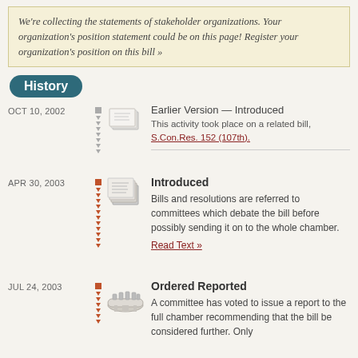We're collecting the statements of stakeholder organizations. Your organization's position statement could be on this page! Register your organization's position on this bill »
History
OCT 10, 2002 — Earlier Version — Introduced. This activity took place on a related bill, S.Con.Res. 152 (107th).
APR 30, 2003 — Introduced. Bills and resolutions are referred to committees which debate the bill before possibly sending it on to the whole chamber. Read Text »
JUL 24, 2003 — Ordered Reported. A committee has voted to issue a report to the full chamber recommending that the bill be considered further. Only